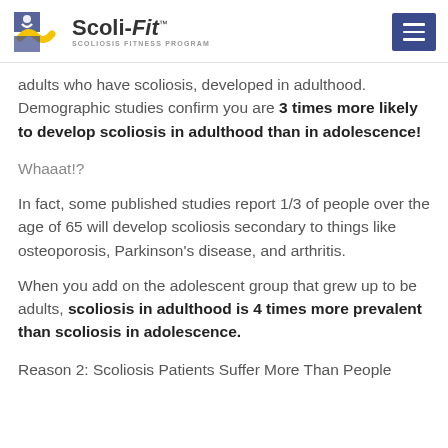Scoli-Fit SCOLIOSIS FITNESS PROGRAM
adults who have scoliosis, developed in adulthood. Demographic studies confirm you are 3 times more likely to develop scoliosis in adulthood than in adolescence!
Whaaat!?
In fact, some published studies report 1/3 of people over the age of 65 will develop scoliosis secondary to things like osteoporosis, Parkinson’s disease, and arthritis.
When you add on the adolescent group that grew up to be adults, scoliosis in adulthood is 4 times more prevalent than scoliosis in adolescence.
Reason 2: Scoliosis Patients Suffer More Than People